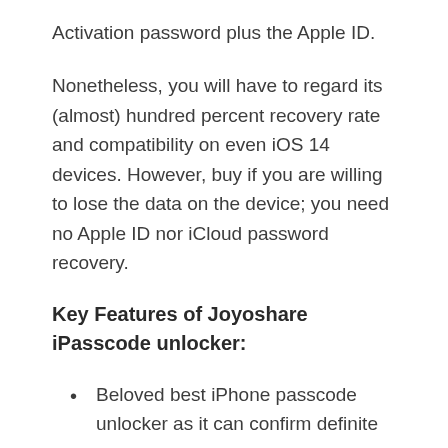Activation password plus the Apple ID.
Nonetheless, you will have to regard its (almost) hundred percent recovery rate and compatibility on even iOS 14 devices. However, buy if you are willing to lose the data on the device; you need no Apple ID nor iCloud password recovery.
Key Features of Joyoshare iPasscode unlocker:
Beloved best iPhone passcode unlocker as it can confirm definite recovery